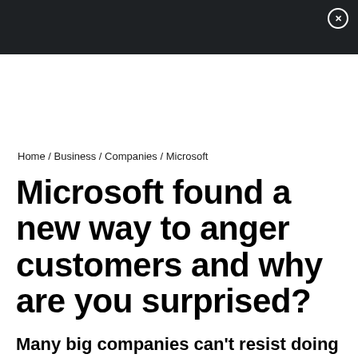Home / Business / Companies / Microsoft
Microsoft found a new way to anger customers and why are you surprised?
Many big companies can't resist doing this